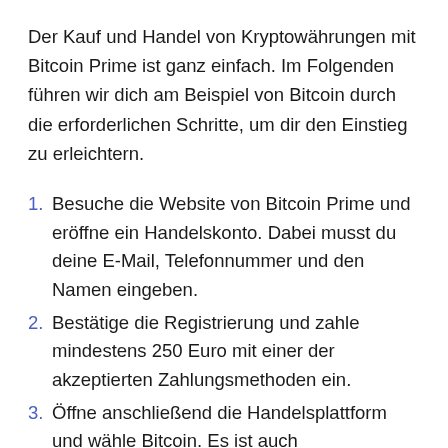Der Kauf und Handel von Kryptowährungen mit Bitcoin Prime ist ganz einfach. Im Folgenden führen wir dich am Beispiel von Bitcoin durch die erforderlichen Schritte, um dir den Einstieg zu erleichtern.
1. Besuche die Website von Bitcoin Prime und eröffne ein Handelskonto. Dabei musst du deine E-Mail, Telefonnummer und den Namen eingeben.
2. Bestätige die Registrierung und zahle mindestens 250 Euro mit einer der akzeptierten Zahlungsmethoden ein.
3. Öffne anschließend die Handelsplattform und wähle Bitcoin. Es ist auch empfehlenswert, erst mit dem Demokonto zu üben.
4. Jetzt kannst du den Broker wählen, die Parameter von dem Bitcoin Prime Bot festlegen und an deine Handelsstrategie anpassen. Denke auch an das